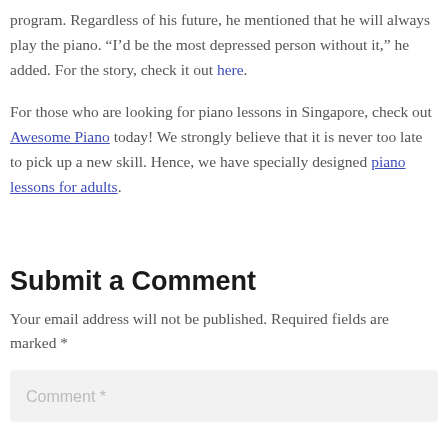program. Regardless of his future, he mentioned that he will always play the piano. “I’d be the most depressed person without it,” he added. For the story, check it out here.
For those who are looking for piano lessons in Singapore, check out Awesome Piano today! We strongly believe that it is never too late to pick up a new skill. Hence, we have specially designed piano lessons for adults.
Submit a Comment
Your email address will not be published. Required fields are marked *
Comment *